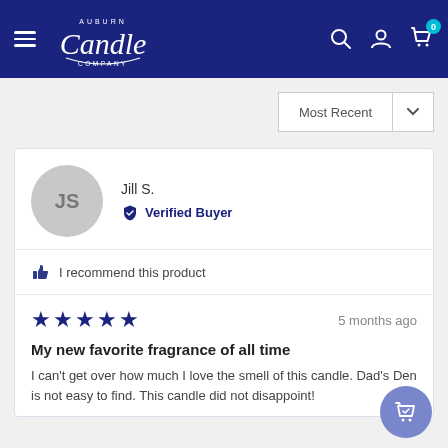[Figure (screenshot): Auburn Candle Company website header with navigation]
Most Recent
JS
Jill S.
Verified Buyer
I recommend this product
5 months ago
My new favorite fragrance of all time
I can't get over how much I love the smell of this candle. Dad's Den is not easy to find. This candle did not disappoint!